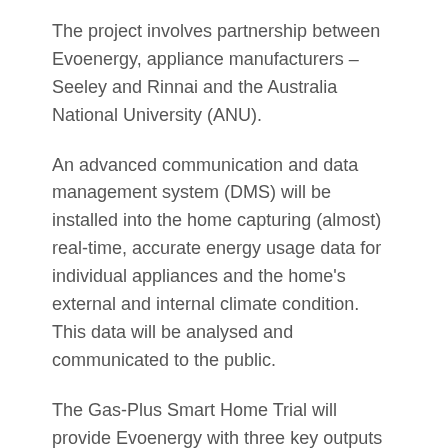The project involves partnership between Evoenergy, appliance manufacturers – Seeley and Rinnai and the Australia National University (ANU).
An advanced communication and data management system (DMS) will be installed into the home capturing (almost) real-time, accurate energy usage data for individual appliances and the home's external and internal climate condition. This data will be analysed and communicated to the public.
The Gas-Plus Smart Home Trial will provide Evoenergy with three key outputs for future business opportunities: